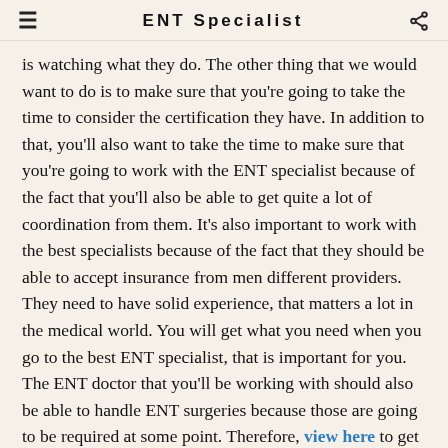ENT Specialist
is watching what they do. The other thing that we would want to do is to make sure that you're going to take the time to consider the certification they have. In addition to that, you'll also want to take the time to make sure that you're going to work with the ENT specialist because of the fact that you'll also be able to get quite a lot of coordination from them. It's also important to work with the best specialists because of the fact that they should be able to accept insurance from men different providers. They need to have solid experience, that matters a lot in the medical world. You will get what you need when you go to the best ENT specialist, that is important for you. The ENT doctor that you'll be working with should also be able to handle ENT surgeries because those are going to be required at some point. Therefore, view here to get more info  about the most recommended ENT doctor.
I BUILT MY SITE FOR FREE USING SITE123